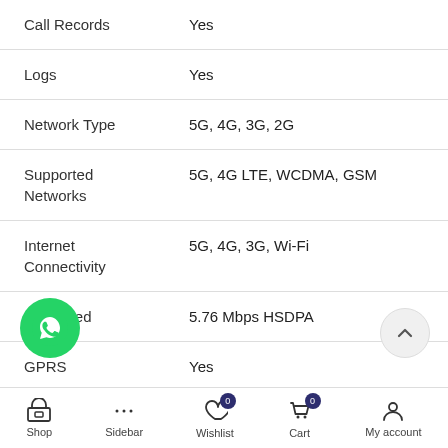| Feature | Value |
| --- | --- |
| Call Records | Yes |
| Logs | Yes |
| Network Type | 5G, 4G, 3G, 2G |
| Supported Networks | 5G, 4G LTE, WCDMA, GSM |
| Internet Connectivity | 5G, 4G, 3G, Wi-Fi |
| 3G Speed | 5.76 Mbps HSDPA |
| GPRS | Yes |
[Figure (logo): WhatsApp floating button (green circle with phone icon)]
[Figure (other): Scroll-to-top button (chevron up)]
Shop  Sidebar  Wishlist 0  Cart 0  My account